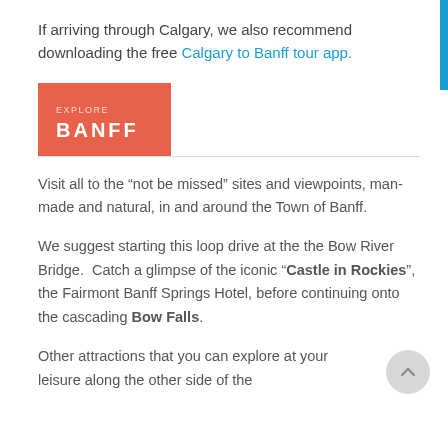If arriving through Calgary, we also recommend downloading the free Calgary to Banff tour app.
BANFF
Visit all to the “not be missed” sites and viewpoints, man-made and natural, in and around the Town of Banff.
We suggest starting this loop drive at the the Bow River Bridge. Catch a glimpse of the iconic “Castle in Rockies”, the Fairmont Banff Springs Hotel, before continuing onto the cascading Bow Falls.
Other attractions that you can explore at your leisure along the other side of the